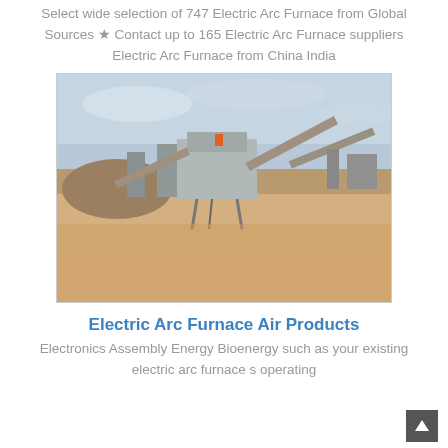Select wide selection of 747 Electric Arc Furnace from Global Sources ★ Contact up to 165 Electric Arc Furnace suppliers Electric Arc Furnace from China India
[Figure (photo): Outdoor industrial mining/processing facility showing conveyor belt systems and heavy machinery in a dusty arid environment]
Electric Arc Furnace Air Products
Electronics Assembly Energy Bioenergy such as your existing electric arc furnace s operating